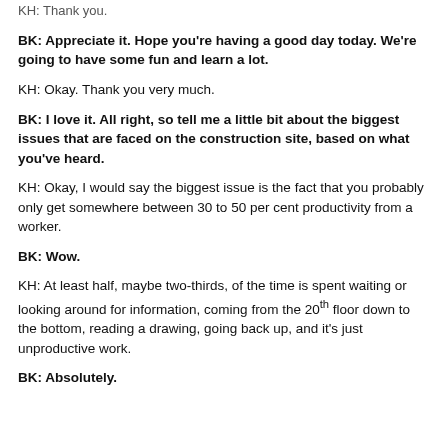KH:  Thank you.
BK:  Appreciate it. Hope you're having a good day today. We're going to have some fun and learn a lot.
KH:  Okay. Thank you very much.
BK:  I love it. All right, so tell me a little bit about the biggest issues that are faced on the construction site, based on what you've heard.
KH:  Okay, I would say the biggest issue is the fact that you probably only get somewhere between 30 to 50 per cent productivity from a worker.
BK:  Wow.
KH:  At least half, maybe two-thirds, of the time is spent waiting or looking around for information, coming from the 20th floor down to the bottom, reading a drawing, going back up, and it's just unproductive work.
BK:  Absolutely.